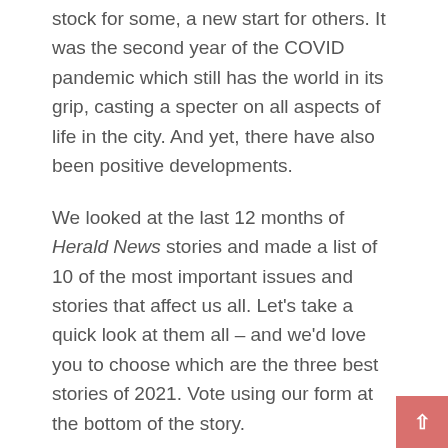stock for some, a new start for others. It was the second year of the COVID pandemic which still has the world in its grip, casting a specter on all aspects of life in the city. And yet, there have also been positive developments.
We looked at the last 12 months of Herald News stories and made a list of 10 of the most important issues and stories that affect us all. Let's take a quick look at them all – and we'd love you to choose which are the three best stories of 2021. Vote using our form at the bottom of the story.
Fall River teacher fired for Facebook post finds